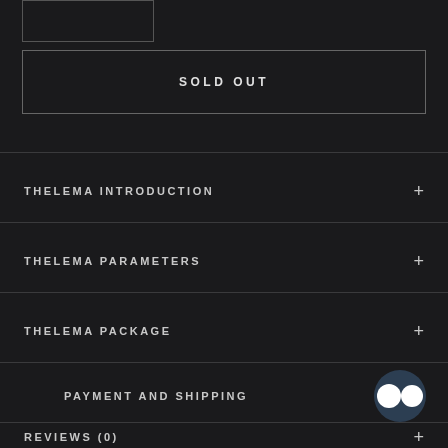[Figure (other): Partial product image placeholder visible at top left]
SOLD OUT
THELEMA INTRODUCTION
THELEMA PARAMETERS
THELEMA PACKAGE
PAYMENT AND SHIPPING
REVIEWS (0)